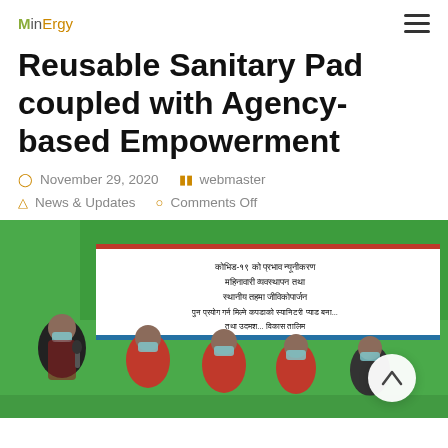MinErgy
Reusable Sanitary Pad coupled with Agency-based Empowerment
November 29, 2020  webmaster  News & Updates  Comments Off
[Figure (photo): Group of women wearing masks standing in front of a white banner with Nepali text, against a green background. The banner mentions COVID-19 impact reduction, menstrual management, and livelihood training at the local level.]